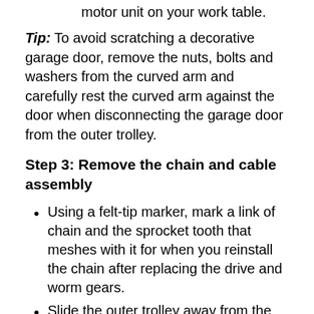step ladder so the rail is level with the motor unit on your work table.
Tip: To avoid scratching a decorative garage door, remove the nuts, bolts and washers from the curved arm and carefully rest the curved arm against the door when disconnecting the garage door from the outer trolley.
Step 3: Remove the chain and cable assembly
Using a felt-tip marker, mark a link of chain and the sprocket tooth that meshes with it for when you reinstall the chain after replacing the drive and worm gears.
Slide the outer trolley away from the inner trolley.
Remove the outer nut and lock washer from